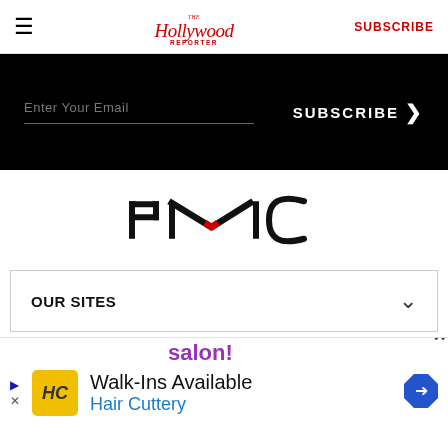The Hollywood Reporter — SUBSCRIBE
[Figure (screenshot): Black email subscribe bar with 'Enter Your Email' input and 'SUBSCRIBE >' button in white text]
[Figure (logo): PMC logo — black geometric letters with a red accent chevron on the M]
OUR SITES
The Hollywood Reporter is a part of Penske Media Corporation. © 2022 The Hollywood Reporter LLC. All Rights Reserved.
[Figure (screenshot): Advertisement overlay: Hair Cuttery ad with HC logo, 'Walk-Ins Available', 'Hair Cuttery' text, navigation arrow icon, and close X button]